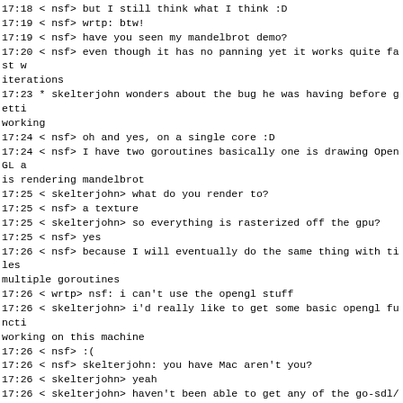17:18 < nsf> but I still think what I think :D
17:19 < nsf> wrtp: btw!
17:19 < nsf> have you seen my mandelbrot demo?
17:20 < nsf> even though it has no panning yet it works quite fast w
iterations
17:23 * skelterjohn wonders about the bug he was having before getti
working
17:24 < nsf> oh and yes, on a single core :D
17:24 < nsf> I have two goroutines basically one is drawing OpenGL a
is rendering mandelbrot
17:25 < skelterjohn> what do you render to?
17:25 < nsf> a texture
17:25 < skelterjohn> so everything is rasterized off the gpu?
17:25 < nsf> yes
17:26 < nsf> because I will eventually do the same thing with tiles
multiple goroutines
17:26 < wrtp> nsf: i can't use the opengl stuff
17:26 < skelterjohn> i'd really like to get some basic opengl functi
working on this machine
17:26 < nsf> :(
17:26 < nsf> skelterjohn: you have Mac aren't you?
17:26 < skelterjohn> yeah
17:26 < skelterjohn> haven't been able to get any of the go-sdl/go-o
stuff i've tried working
17:26 < nsf> in the ML someone describe a lot how to set these thing
17:27 < wrtp> me neither
17:27 < exch> gosdl is working fine for me
17:28 < skelterjohn> exch: which implementation?  and you mean on os
17:28 < exch> ah nope.  on Linux.
17:28 < nsf> skelterjohn: in this thread see second message:
http://groups.google.com/group/golang-nuts/browse_thread/thread/0b4a
17:28 < skelterjohn> thanks, nsf
17:29 < nsf> looks complicated to me
17:29 < exch> i have this version http://github.com/manveru/Go-SDL
17:30 < exch> it's a fork from banthar's project
17:30 < nsf> interestring, what's different here?
17:30 < nsf> interesting*
17:30 < exch> not sure really.  I haven't compared the two.  I'm jus